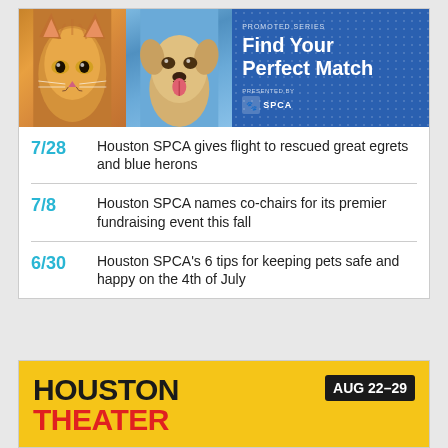[Figure (illustration): Promoted Series banner for Houston SPCA 'Find Your Perfect Match' showing a cat and dog photo on the left and blue background with text on the right]
7/28  Houston SPCA gives flight to rescued great egrets and blue herons
7/8  Houston SPCA names co-chairs for its premier fundraising event this fall
6/30  Houston SPCA's 6 tips for keeping pets safe and happy on the 4th of July
[Figure (illustration): Houston Theater promotional banner with yellow background, large black HOUSTON text, red THEATER text, and AUG 22-29 badge]